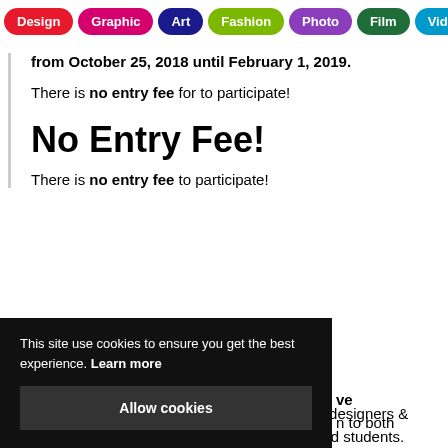Design | Graphic | Art | Fashion | Photo | Film | Video | Music
from October 25, 2018 until February 1, 2019.
There is no entry fee for to participate!
No Entry Fee!
There is no entry fee to participate!
This site use cookies to ensure you get the best experience. Learn more
Allow cookies
ve open to both professional designers & engineers and students.